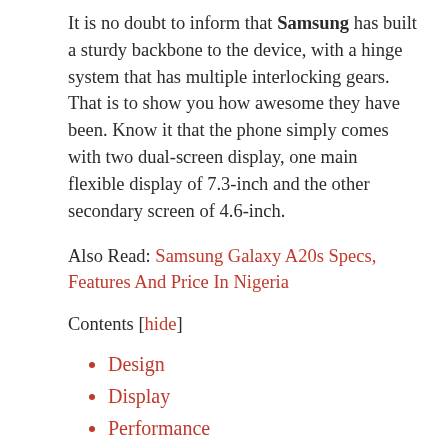It is no doubt to inform that Samsung has built a sturdy backbone to the device, with a hinge system that has multiple interlocking gears. That is to show you how awesome they have been. Know it that the phone simply comes with two dual-screen display, one main flexible display of 7.3-inch and the other secondary screen of 4.6-inch.
Also Read: Samsung Galaxy A20s Specs, Features And Price In Nigeria
Contents [hide]
Design
Display
Performance
Rear Camera
Battery Capacity
Connectivity
Price and Availability
Samsung Galaxy Fold Specs